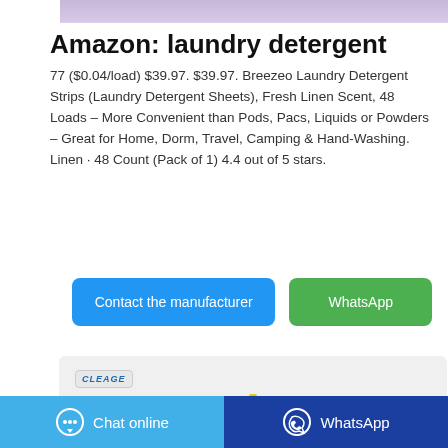[Figure (photo): Top portion of a product image, appears to show a pink/purple item on white background]
Amazon: laundry detergent
77 ($0.04/load) $39.97. $39.97. Breezeo Laundry Detergent Strips (Laundry Detergent Sheets), Fresh Linen Scent, 48 Loads – More Convenient than Pods, Pacs, Liquids or Powders – Great for Home, Dorm, Travel, Camping & Hand-Washing. Linen · 48 Count (Pack of 1) 4.4 out of 5 stars.
Contact the manufacturer
WhatsApp
[Figure (photo): Product image showing Cleage brand label and a yellow bottle on gray background]
Chat online
WhatsApp